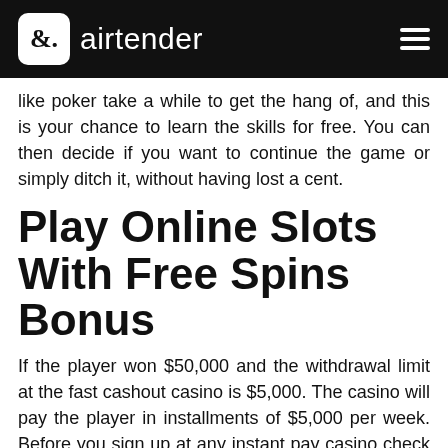airtender
like poker take a while to get the hang of, and this is your chance to learn the skills for free. You can then decide if you want to continue the game or simply ditch it, without having lost a cent.
Play Online Slots With Free Spins Bonus
If the player won $50,000 and the withdrawal limit at the fast cashout casino is $5,000. The casino will pay the player in installments of $5,000 per week. Before you sign up at any instant pay casino check its withdrawal policy relating to progressive slot wins. Note, the emphasis is on